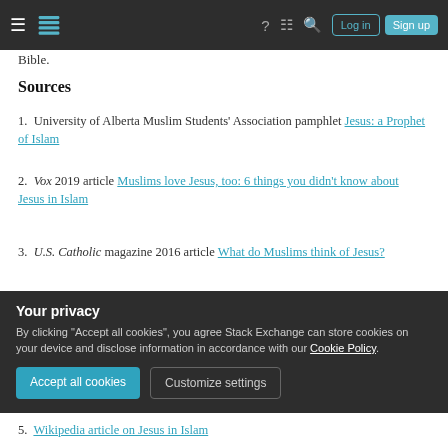Navigation bar with hamburger menu, Stack Exchange logo, help, chat, search icons, Log in and Sign up buttons
Bible.
Sources
University of Alberta Muslim Students' Association pamphlet Jesus: a Prophet of Islam
Vox 2019 article Muslims love Jesus, too: 6 things you didn't know about Jesus in Islam
U.S. Catholic magazine 2016 article What do Muslims think of Jesus?
Christianity Today 2002 article Is the God of
Your privacy
By clicking "Accept all cookies", you agree Stack Exchange can store cookies on your device and disclose information in accordance with our Cookie Policy.
Accept all cookies  Customize settings